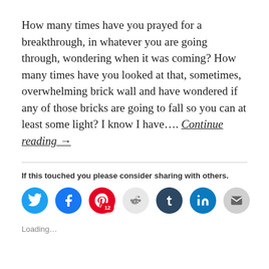How many times have you prayed for a breakthrough, in whatever you are going through, wondering when it was coming? How many times have you looked at that, sometimes, overwhelming brick wall and have wondered if any of those bricks are going to fall so you can at least some light? I know I have.... Continue reading →
If this touched you please consider sharing with others.
[Figure (infographic): Row of social media share buttons: Twitter (blue), Facebook (blue), Pinterest (red with badge 12), Reddit (light gray), Tumblr (dark blue), LinkedIn (blue), Email (gray)]
Loading...